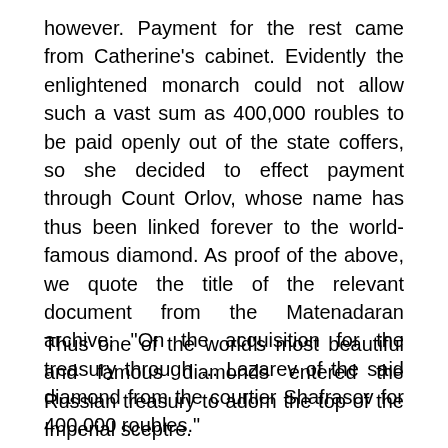however. Payment for the rest came from Catherine's cabinet. Evidently the enlightened monarch could not allow such a vast sum as 400,000 roubles to be paid openly out of the state coffers, so she decided to effect payment through Count Orlov, whose name has thus been linked forever to the world-famous diamond. As proof of the above, we quote the title of the relevant document from the Matenadaran archive: "On the acquisition for the treasury through ... Lazarev of the said diamond from the courtier Shafrasov for 400,000 roubles."
Thus one of the world's most beautiful and famous diamonds entered the Russian treasury to adorn the top of the Imperial sceptre.